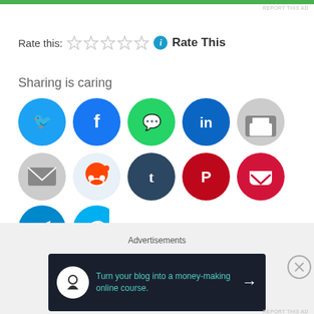[Figure (other): Green advertisement bar at top of page]
REPORT THIS AD
Rate this: ★☆☆☆☆ ℹ Rate This
Sharing is caring
[Figure (infographic): Social media sharing buttons: Twitter, Facebook, WhatsApp, LinkedIn, Print, Email, Reddit, Tumblr, Pinterest, Pocket, Telegram, Skype]
Loading...
Related
Advertisements
[Figure (illustration): Advertisement banner: Turn your blog into a money-making online course. with arrow button]